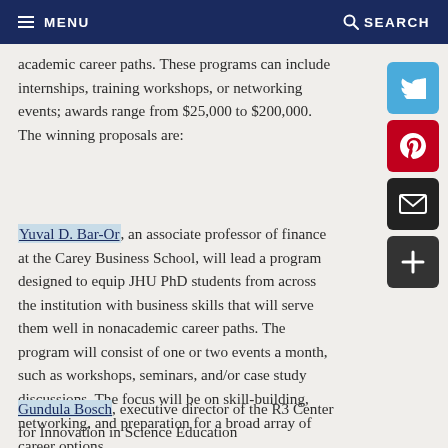MENU   SEARCH
academic career paths. These programs can include internships, training workshops, or networking events; awards range from $25,000 to $200,000. The winning proposals are:
Yuval D. Bar-Or, an associate professor of finance at the Carey Business School, will lead a program designed to equip JHU PhD students from across the institution with business skills that will serve them well in nonacademic career paths. The program will consist of one or two events a month, such as workshops, seminars, and/or case study discussions. The focus will be on skill-building, networking, and preparation for a broad array of career options.
Gundula Bosch, executive director of the R3 Center for Innovation in Science Education